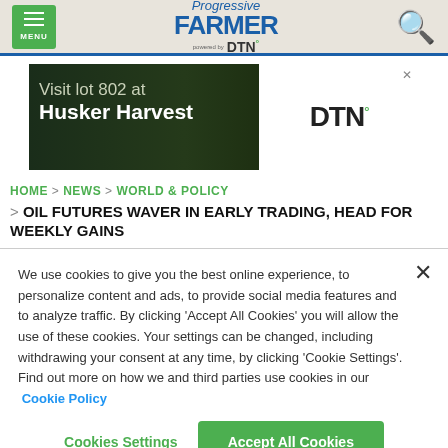MENU | Progressive FARMER powered by DTN | [search icon]
[Figure (screenshot): Advertisement banner: Visit lot 802 at Husker Harvest, DTN logo on white background]
HOME > NEWS > WORLD & POLICY > OIL FUTURES WAVER IN EARLY TRADING, HEAD FOR WEEKLY GAINS
We use cookies to give you the best online experience, to personalize content and ads, to provide social media features and to analyze traffic. By clicking 'Accept All Cookies' you will allow the use of these cookies. Your settings can be changed, including withdrawing your consent at any time, by clicking 'Cookie Settings'. Find out more on how we and third parties use cookies in our Cookie Policy
Cookies Settings | Accept All Cookies